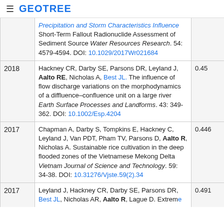GEOTREE
| Year | Reference | Score |  |
| --- | --- | --- | --- |
|  | Precipitation and Storm Characteristics Influence Short-Term Fallout Radionuclide Assessment of Sediment Source Water Resources Research. 54: 4579-4594. DOI: 10.1029/2017Wr021684 |  |  |
| 2018 | Hackney CR, Darby SE, Parsons DR, Leyland J, Aalto RE, Nicholas A, Best JL. The influence of flow discharge variations on the morphodynamics of a diffluence–confluence unit on a large river Earth Surface Processes and Landforms. 43: 349-362. DOI: 10.1002/Esp.4204 | 0.45 |  |
| 2017 | Chapman A, Darby S, Tompkins E, Hackney C, Leyland J, Van PDT, Pham TV, Parsons D, Aalto R, Nicholas A. Sustainable rice cultivation in the deep flooded zones of the Vietnamese Mekong Delta Vietnam Journal of Science and Technology. 59: 34-38. DOI: 10.31276/Vjste.59(2).34 | 0.446 |  |
| 2017 | Leyland J, Hackney CR, Darby SE, Parsons DR, Best JL, Nicholas AR, Aalto R, Lague D. Extreme flood-driven fluvial bank erosion… | 0.491 |  |